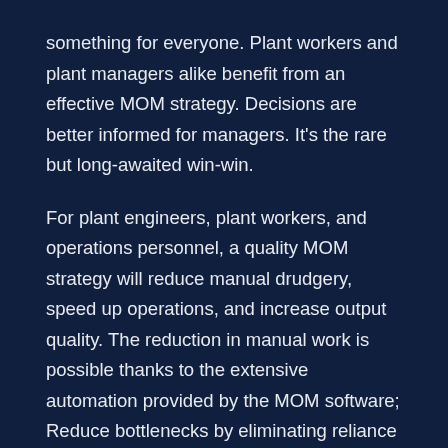something for everyone. Plant workers and plant managers alike benefit from an effective MOM strategy. Decisions are better informed for managers. It's the rare but long-awaited win-win.
For plant engineers, plant workers, and operations personnel, a quality MOM strategy will reduce manual drudgery, speed up operations, and increase output quality. The reduction in manual work is possible thanks to the extensive automation provided by the MOM software; Reduce bottlenecks by eliminating reliance on repetitive, low-value work.
Faster and more efficient operations are possible